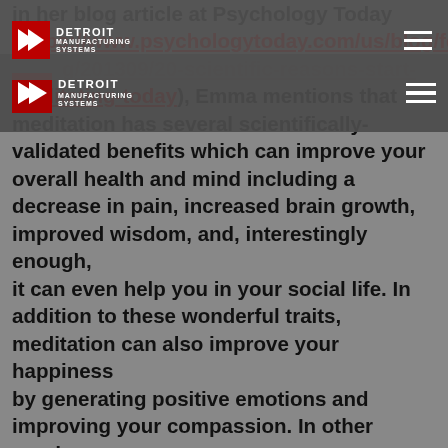Detroit Manufacturing Systems
in her blog article at Psychology Today (https://www.psychologytoday.com/us/blog/feeling/201309/20-scientific-reasons-start-meditating-today), Emma mentions that meditation has several scientifically-validated benefits which can improve your overall health and mind including a decrease in pain, increased brain growth, improved wisdom, and, interestingly enough, it can even help you in your social life. In addition to these wonderful traits, meditation can also improve your happiness by generating positive emotions and improving your compassion. In other words, meditation can help you on your journey to becoming your best version of yourself.